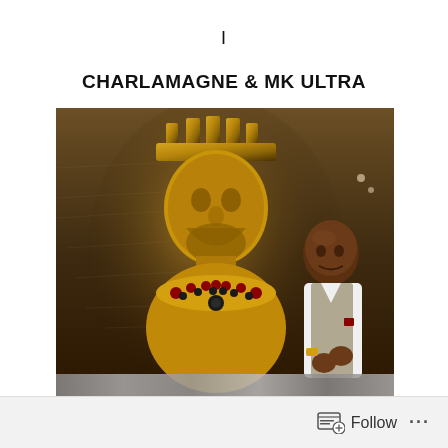I
CHARLAMAGNE & MK ULTRA
[Figure (photo): A golden bust/statue of a crowned king with ornate jeweled necklace/chest piece set against a map background, with a bald Black man in a white shirt and grey vest standing to the right]
Follow ...